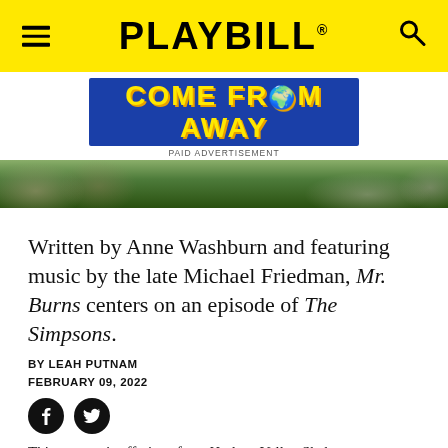PLAYBILL
[Figure (illustration): Come From Away musical advertisement banner — blue background with large yellow block letters reading COME FROM AWAY with a globe replacing the O in FROM]
PAID ADVERTISEMENT
[Figure (photo): Outdoor performance scene with audience members sitting on grass, shot from behind]
Written by Anne Washburn and featuring music by the late Michael Friedman, Mr. Burns centers on an episode of The Simpsons.
BY LEAH PUTNAM
FEBRUARY 09, 2022
This summer's offerings from Hudson Valley Shakespeare Festival will include Romeo & Juliet; Mr. Burns, a Post-Electric Play; and Where We Belong, in addition to two